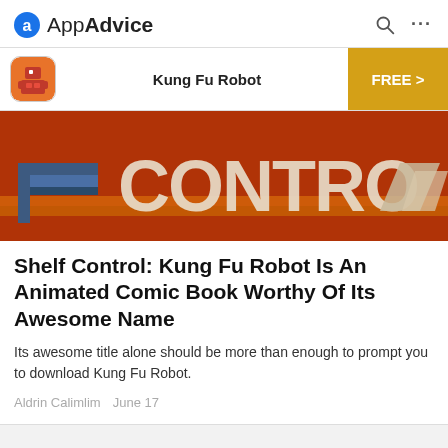AppAdvice
Kung Fu Robot  FREE >
[Figure (screenshot): Hero banner image showing 'CONTRO' text in large beige letters on a red/orange background with blue shelf graphic on the left side]
Shelf Control: Kung Fu Robot Is An Animated Comic Book Worthy Of Its Awesome Name
Its awesome title alone should be more than enough to prompt you to download Kung Fu Robot.
Aldrin Calimlim  June 17
Copyright 2022 AppAdvice LLC. All rights reserved.